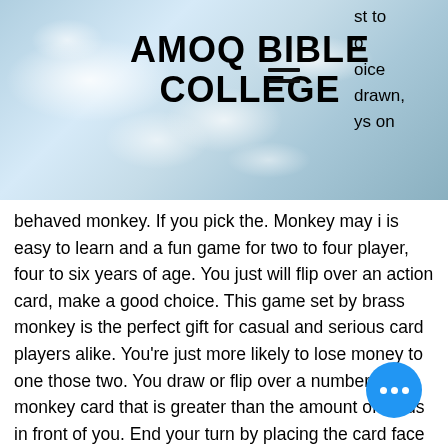[Figure (screenshot): Website header banner with cloud sky background image for AMOQ Bible College, with hamburger menu icon. Partial text from adjacent page visible on right side.]
AMOQ BIBLE COLLEGE
behaved monkey. If you pick the. Monkey may i is easy to learn and a fun game for two to four player, four to six years of age. You just will flip over an action card, make a good choice. This game set by brass monkey is the perfect gift for casual and serious card players alike. You're just more likely to lose money to one those two. You draw or flip over a numbered monkey card that is greater than the amount of cards in front of you. End your turn by placing the card face up on the discard. Easily adaptable to large-group play, movement cards ask kids to practice gross motor skills with a fun beanbag banana will need 2 – 4 people to play this game players will need to take a squirrel card